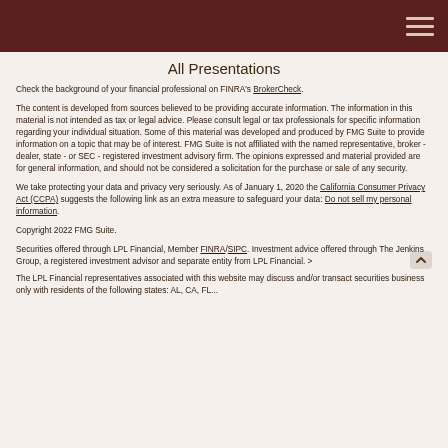All Presentations
Check the background of your financial professional on FINRA's BrokerCheck.
The content is developed from sources believed to be providing accurate information. The information in this material is not intended as tax or legal advice. Please consult legal or tax professionals for specific information regarding your individual situation. Some of this material was developed and produced by FMG Suite to provide information on a topic that may be of interest. FMG Suite is not affiliated with the named representative, broker - dealer, state - or SEC - registered investment advisory firm. The opinions expressed and material provided are for general information, and should not be considered a solicitation for the purchase or sale of any security.
We take protecting your data and privacy very seriously. As of January 1, 2020 the California Consumer Privacy Act (CCPA) suggests the following link as an extra measure to safeguard your data: Do not sell my personal information.
Copyright 2022 FMG Suite.
Securities offered through LPL Financial, Member FINRA/SIPC. Investment advice offered through The Jenkins Group, a registered investment advisor and separate entity from LPL Financial. >
The LPL Financial representatives associated with this website may discuss and/or transact securities business only with residents of the following states: AL, CA, FL...